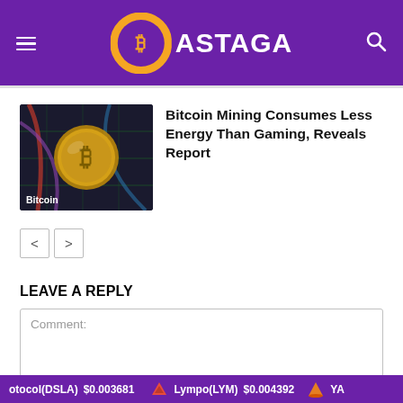BASTAGA
[Figure (photo): Bitcoin gold coin with circuit board background, labeled 'Bitcoin']
Bitcoin Mining Consumes Less Energy Than Gaming, Reveals Report
< >
LEAVE A REPLY
Comment:
otocol(DSLA) $0.003681   Lympo(LYM) $0.004392   YA